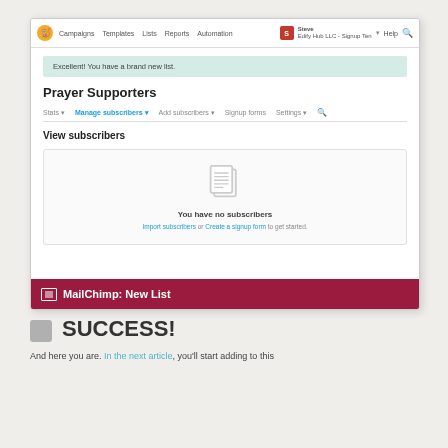[Figure (screenshot): Screenshot of MailChimp interface showing 'Prayer Supporters' list page with navigation bar, success message 'Excellent! You have a brand new list.', list title, tabs (Stats, Manage subscribers, Add subscribers, Signup forms, Settings), 'View subscribers' section showing empty state with 'You have no subscribers' message, and caption bar reading 'MailChimp: New List']
MailChimp: New List
SUCCESS!
And here you are. In the next article, you'll start adding to this